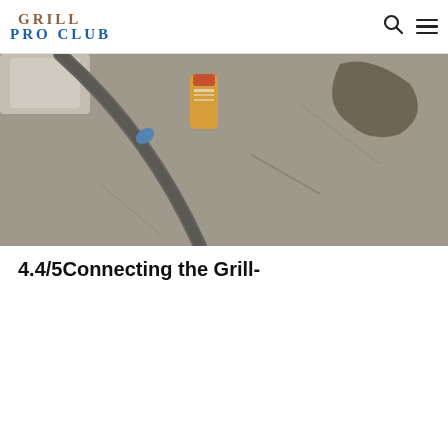GRILL PRO CLUB
[Figure (photo): Overhead view of a concrete or stone surface with a dark hose/cable and a bottle of cleaning solution, with dark staining on the surface. A blue zip tie or connector is visible on the hose.]
4.4/5Connecting the Grill-